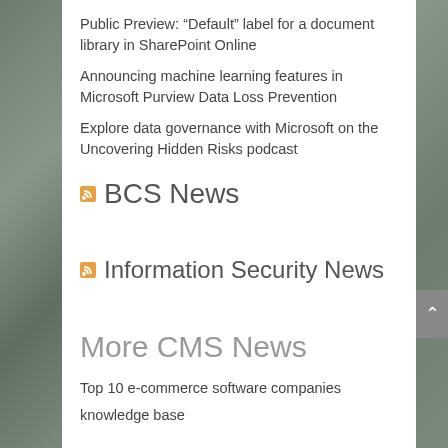Public Preview: “Default” label for a document library in SharePoint Online
Announcing machine learning features in Microsoft Purview Data Loss Prevention
Explore data governance with Microsoft on the Uncovering Hidden Risks podcast
BCS News
Information Security News
More CMS News
Top 10 e-commerce software companies
knowledge base